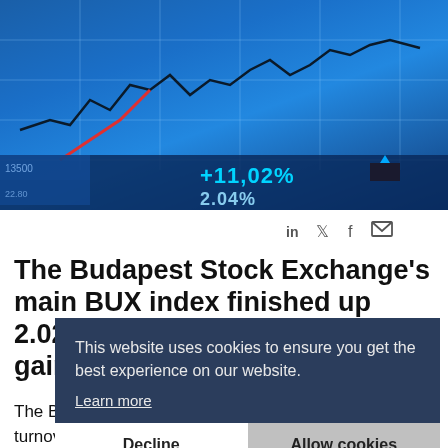[Figure (photo): Stock market chart photo with blue background showing line chart and ticker values +11,02% and 2.04%]
The Budapest Stock Exchange's main BUX index finished up 2.02% at 22,857.57 Tuesday after gaining 0.05% on Monday.
The BUX steadily strengthened throughout the day and turnover was around 30% more than the daily average this year. Investor sentiment on foreign
This website uses cookies to ensure you get the best experience on our website.
Learn more
Decline | Allow cookies